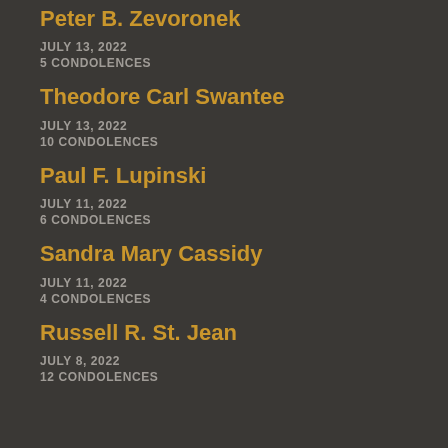Peter B. Zevoronek
JULY 13, 2022
5 CONDOLENCES
Theodore Carl Swantee
JULY 13, 2022
10 CONDOLENCES
Paul F. Lupinski
JULY 11, 2022
6 CONDOLENCES
Sandra Mary Cassidy
JULY 11, 2022
4 CONDOLENCES
Russell R. St. Jean
JULY 8, 2022
12 CONDOLENCES